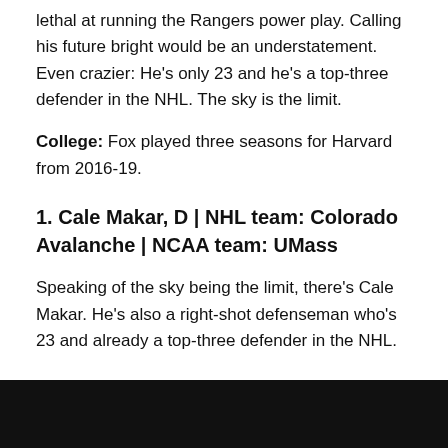lethal at running the Rangers power play. Calling his future bright would be an understatement. Even crazier: He's only 23 and he's a top-three defender in the NHL. The sky is the limit.
College: Fox played three seasons for Harvard from 2016-19.
1. Cale Makar, D | NHL team: Colorado Avalanche | NCAA team: UMass
Speaking of the sky being the limit, there's Cale Makar. He's also a right-shot defenseman who's 23 and already a top-three defender in the NHL.
BRACKET SZN: Here's the latest bracket prediction, two months to selections